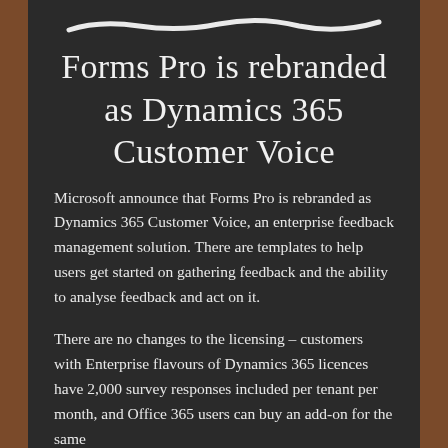[Figure (illustration): White chalk line drawn horizontally across the top of a chalkboard]
Forms Pro is rebranded as Dynamics 365 Customer Voice
Microsoft announce that Forms Pro is rebranded as Dynamics 365 Customer Voice, an enterprise feedback management solution. There are templates to help users get started on gathering feedback and the ability to analyse feedback and act on it.
There are no changes to the licensing – customers with Enterprise flavours of Dynamics 365 licences have 2,000 survey responses included per tenant per month, and Office 365 users can buy an add-on for the same